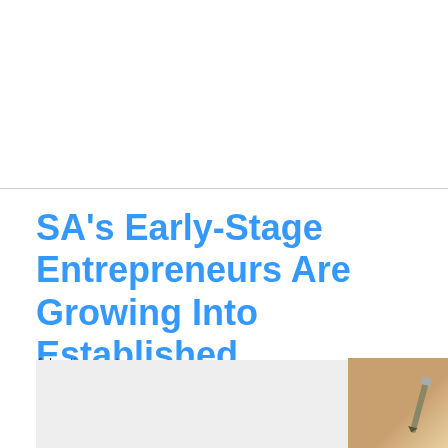SA's Early-Stage Entrepreneurs Are Growing Into Established Businesses
Advertisement
[Figure (photo): Partial photo of a person's hand writing with a pen on a wooden surface, positioned at bottom right of the page]